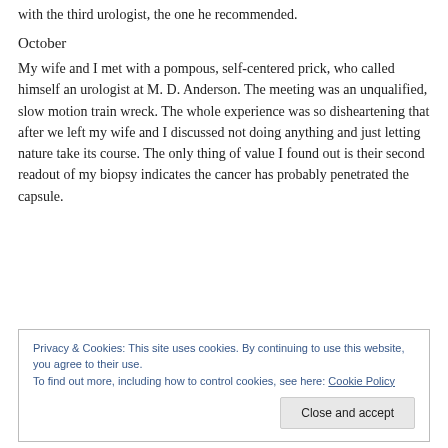with the third urologist, the one he recommended.
October
My wife and I met with a pompous, self-centered prick, who called himself an urologist at M. D. Anderson. The meeting was an unqualified, slow motion train wreck. The whole experience was so disheartening that after we left my wife and I discussed not doing anything and just letting nature take its course. The only thing of value I found out is their second readout of my biopsy indicates the cancer has probably penetrated the capsule.
Privacy & Cookies: This site uses cookies. By continuing to use this website, you agree to their use.
To find out more, including how to control cookies, see here: Cookie Policy
Close and accept